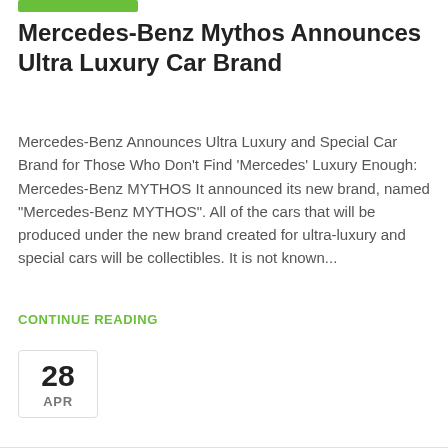[Figure (other): Green category/tag bar at top of article card]
Mercedes-Benz Mythos Announces Ultra Luxury Car Brand
Mercedes-Benz Announces Ultra Luxury and Special Car Brand for Those Who Don't Find 'Mercedes' Luxury Enough: Mercedes-Benz MYTHOS It announced its new brand, named "Mercedes-Benz MYTHOS". All of the cars that will be produced under the new brand created for ultra-luxury and special cars will be collectibles. It is not known...
CONTINUE READING
28
APR